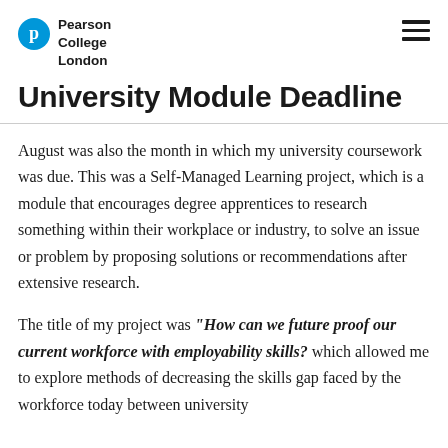Pearson College London
University Module Deadline
August was also the month in which my university coursework was due. This was a Self-Managed Learning project, which is a module that encourages degree apprentices to research something within their workplace or industry, to solve an issue or problem by proposing solutions or recommendations after extensive research.
The title of my project was "How can we future proof our current workforce with employability skills? which allowed me to explore methods of decreasing the skills gap faced by the workforce today between university